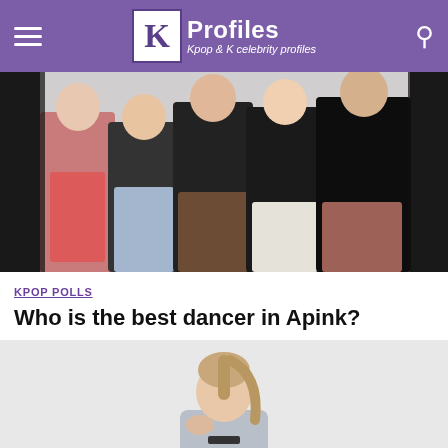KProfiles — Kpop & K celebrity profiles
[Figure (photo): Group photo of Apink members, five young women in stylish dark and colorful outfits posed together against a white/light background]
KPOP POLLS
Who is the best dancer in Apink?
[Figure (photo): Solo photo of a young woman with a high ponytail wearing a grey shirt, posing with her hand near her chin against a light grey background]